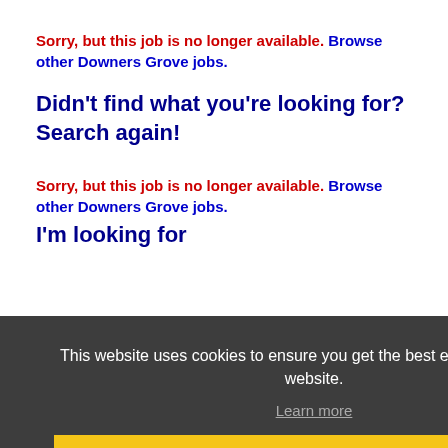Sorry, but this job is no longer available. Browse other Downers Grove jobs.
Didn't find what you're looking for? Search again!
Sorry, but this job is no longer available. Browse other Downers Grove jobs.
I'm looking for
[Figure (screenshot): Cookie consent overlay with dark background. Text: 'This website uses cookies to ensure you get the best experience on our website.' with a 'Learn more' underlined link and a yellow 'Got it!' button.]
in category
ALL
within
100 Miles of Downers Grove